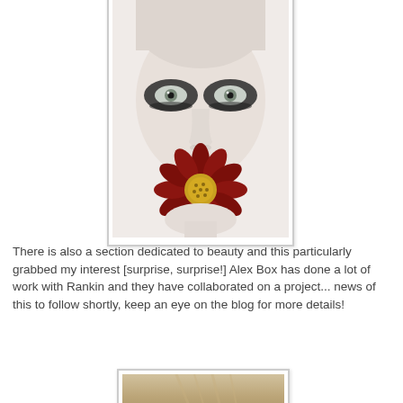[Figure (photo): Close-up portrait of a pale woman with dramatic dark smoky eye makeup and piercing light eyes, holding a dark red/burgundy daisy flower in her mouth against a white background. High-fashion beauty photography style.]
There is also a section dedicated to beauty and this particularly grabbed my interest [surprise, surprise!] Alex Box has done a lot of work with Rankin and they have collaborated on a project... news of this to follow shortly, keep an eye on the blog for more details!
[Figure (photo): Partial view of a second photo showing the top of a person's head with blonde hair, bottom portion only visible.]